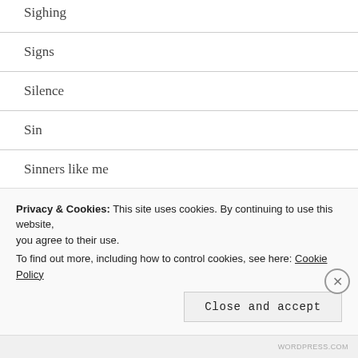Sighing
Signs
Silence
Sin
Sinners like me
Slothfulness
Social Distancing
Solutions
Sophistry
Privacy & Cookies: This site uses cookies. By continuing to use this website, you agree to their use.
To find out more, including how to control cookies, see here: Cookie Policy
WORDPRESS.COM